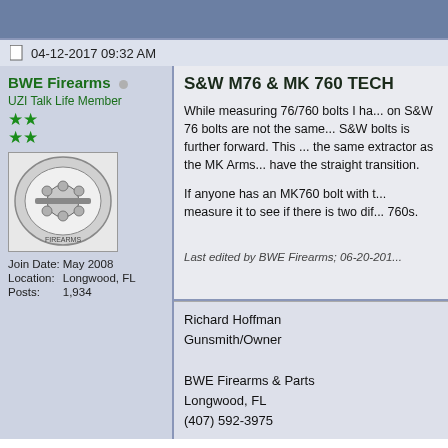04-12-2017 09:32 AM
BWE Firearms
UZI Talk Life Member
Join Date: May 2008
Location: Longwood, FL
Posts: 1,934
S&W M76 & MK 760 TECH
While measuring 76/760 bolts I ha... on S&W 76 bolts are not the same... S&W bolts is further forward. This ... the same extractor as the MK Arms... have the straight transition.

If anyone has an MK760 bolt with t... measure it to see if there is two dif... 760s.
Last edited by BWE Firearms; 06-20-201...
Richard Hoffman
Gunsmith/Owner

BWE Firearms & Parts
Longwood, FL
(407) 592-3975